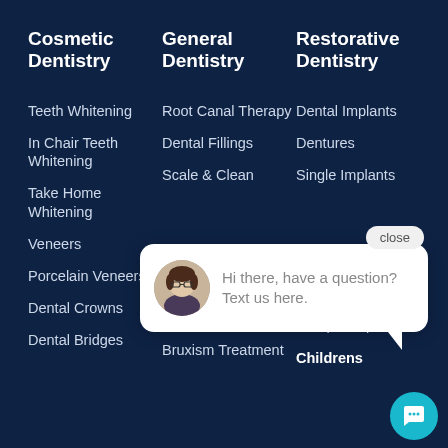Cosmetic Dentistry
General Dentistry
Restorative Dentistry
Teeth Whitening
Root Canal Therapy
Dental Implants
In Chair Teeth Whitening
Dental Fillings
Dentures
Take Home Whitening
Scale & Clean
Single Implants
Veneers
Porcelain Veneers
Gum Disease Treatment
Multiple Implants
Dental Crowns
Bruxism Treatment
Childrens
Dental Bridges
[Figure (screenshot): Chat popup widget with avatar photo of a woman and text: Hi there, have a question? Text us here. With a close button and a teal chat icon circle.]